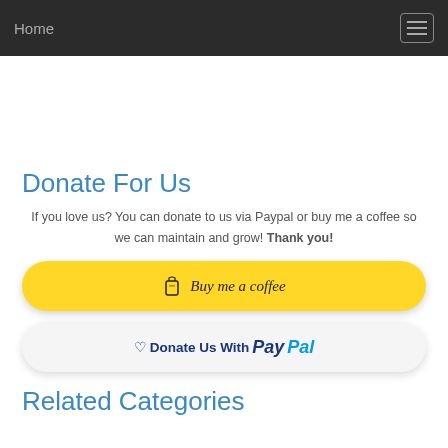Home
Donate For Us
If you love us? You can donate to us via Paypal or buy me a coffee so we can maintain and grow! Thank you!
[Figure (other): Yellow rounded button with coffee cup icon and text 'Buy me a coffee']
[Figure (other): White rounded button with heart icon and 'Donate Us With PayPal' text]
Related Categories